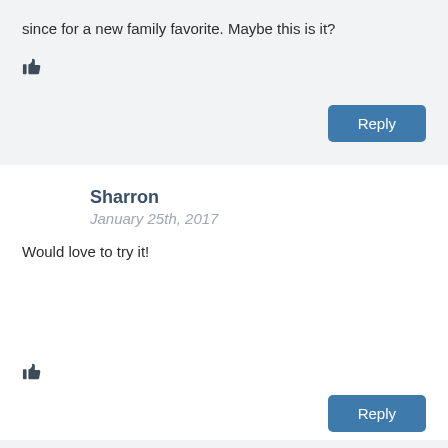since for a new family favorite. Maybe this is it?
👍
Reply
Sharron
January 25th, 2017
Would love to try it!
👍
Reply
Marissa